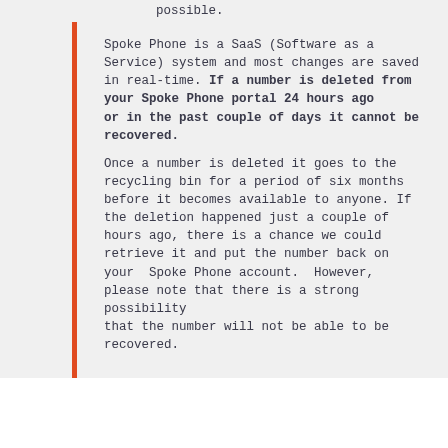possible.
Spoke Phone is a SaaS (Software as a Service) system and most changes are saved in real-time. If a number is deleted from your Spoke Phone portal 24 hours ago or in the past couple of days it cannot be recovered.
Once a number is deleted it goes to the recycling bin for a period of six months before it becomes available to anyone. If the deletion happened just a couple of hours ago, there is a chance we could retrieve it and put the number back on your Spoke Phone account. However, please note that there is a strong possibility that the number will not be able to be recovered.